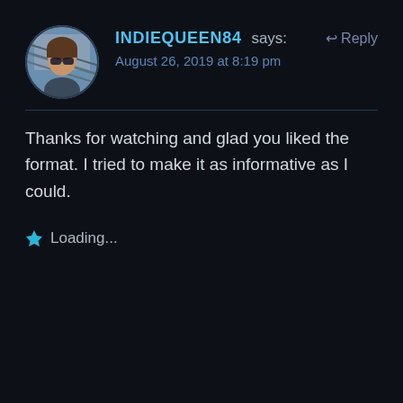[Figure (photo): Circular avatar photo of a young woman with sunglasses, outdoors]
INDIEQUEEN84 says: ↩ Reply
August 26, 2019 at 8:19 pm
Thanks for watching and glad you liked the format. I tried to make it as informative as I could.
★ Loading...